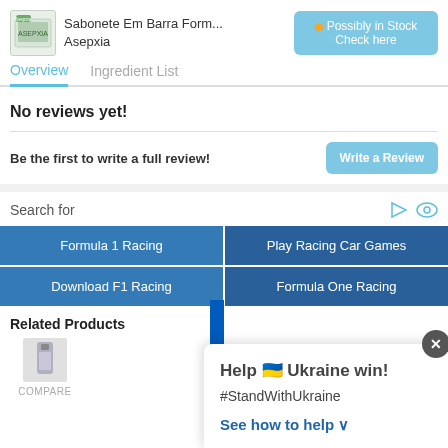[Figure (photo): Product image of Asepxia Sabonete Em Barra soap bar]
Sabonete Em Barra Form...
Asepxia
Possibly in Stock
Check here
Overview
Ingredient List
No reviews yet!
Be the first to write a full review!
Write a Review
Search for
Formula 1 Racing
Play Racing Car Games
Download F1 Racing
Formula One Racing
Related Products
COMPARE
Help 🇺🇦 Ukraine win!
#StandWithUkraine
See how to help ∨